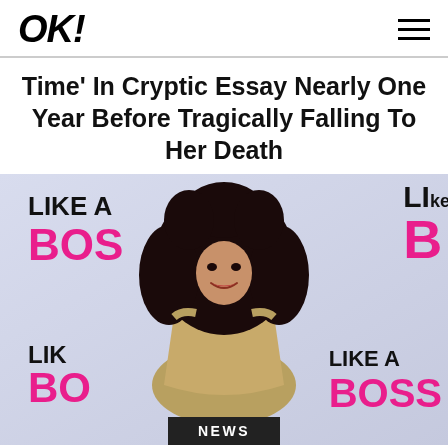OK!
Time' In Cryptic Essay Nearly One Year Before Tragically Falling To Her Death
[Figure (photo): A woman with long curly black hair wearing an off-the-shoulder silver/gold dress, smiling at what appears to be a 'Like A Boss' movie premiere event. The background shows repeated 'LIKE A BOSS' text in black and pink.]
NEWS